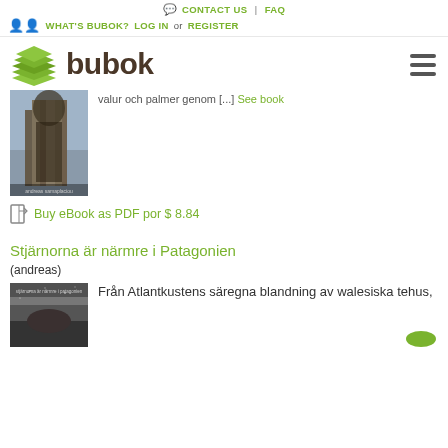CONTACT US | FAQ
WHAT'S BUBOK? LOG IN or REGISTER
[Figure (logo): Bubok logo with green book stack icon and brown bold text 'bubok']
[Figure (photo): Book cover photo showing a textured tree trunk or wood figure with sky background, author text at bottom]
valur och palmer genom [...] See book
Buy eBook as PDF por $ 8.84
Stjärnorna är närmre i Patagonien
(andreas)
[Figure (photo): Book cover for 'stjärnorna är närmre i patagonien' with dark image]
Från Atlantkustens säregna blandning av walesiska tehus,